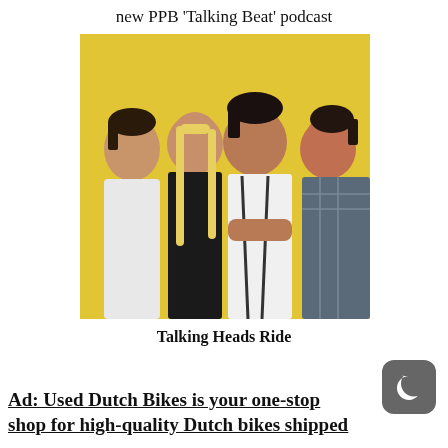new PPB 'Talking Beat' podcast
[Figure (photo): Black and white / color photo of four people (the band Talking Heads) standing together against a yellow background. From left: a man with dark hair in a white shirt, a woman with long blonde hair in a dark top, a man in the center with dark hair wearing a white shirt with suspenders and arms crossed, and a man on the right in a plaid shirt.]
Talking Heads Ride
Ad: Used Dutch Bikes is your one-stop shop for high-quality Dutch bikes shipped